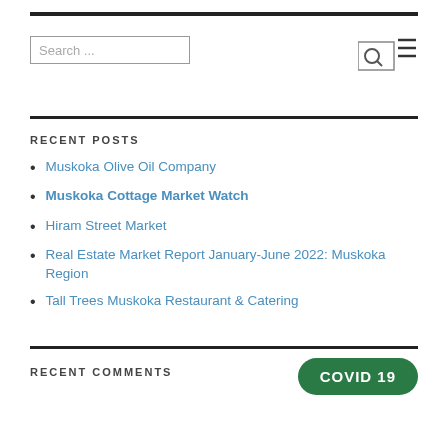[Figure (screenshot): Search input box with placeholder text 'Search ...']
[Figure (screenshot): Menu/filter icon with magnifying glass and three horizontal lines]
RECENT POSTS
Muskoka Olive Oil Company
Muskoka Cottage Market Watch
Hiram Street Market
Real Estate Market Report January-June 2022: Muskoka Region
Tall Trees Muskoka Restaurant & Catering
RECENT COMMENTS
[Figure (other): COVID 19 green pill-shaped button]